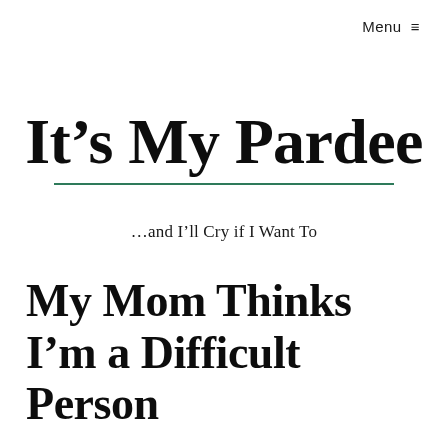Menu ≡
It's My Pardee
...and I'll Cry if I Want To
My Mom Thinks I'm a Difficult Person